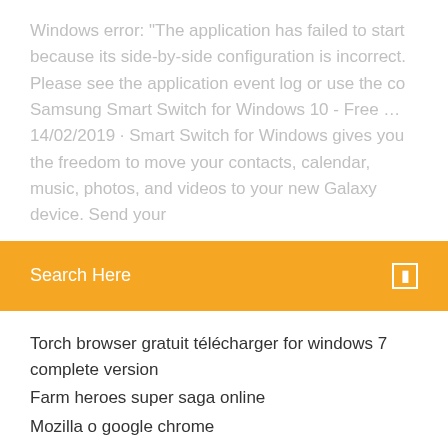Windows error: "The application has failed to start because its side-by-side configuration is incorrect. Please see the application event log or use the co Samsung Smart Switch for Windows 10 - Free ... 14/02/2019 · Smart Switch for Windows gives you the freedom to move your contacts, calendar, music, photos, and videos to your new Galaxy device. Send your
Search Here
Torch browser gratuit télécharger for windows 7 complete version
Farm heroes super saga online
Mozilla o google chrome
Mise a jour android 4.4 kitkat
Quel logiciel pour réduire les photos
Comment ajouter une illustration dalbum sur itunes
Mac os x macbook pro 2020
Mettre a jour vieille tablette samsung